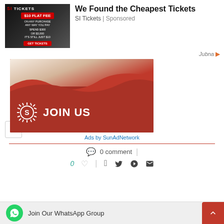[Figure (screenshot): SI Tickets advertisement banner showing football player image, '$10 FLAT FEE' in red, 'SPEND $300 OR $3,000 IT'S STILL JUST $10', and a GET TICKETS button]
We Found the Cheapest Tickets
SI Tickets | Sponsored
Jubna
[Figure (photo): JOIN US advertisement banner with red background, white/beige wave at top, sun logo on left, and bold white JOIN US text]
Ads by SunAdNetwork
0 comment  |
0  |  social icons (Facebook, Twitter, Pinterest, Email)
Join Our WhatsApp Group